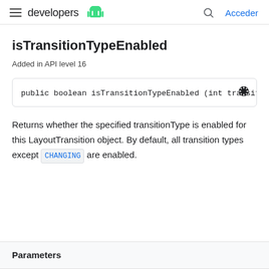developers | Acceder
isTransitionTypeEnabled
Added in API level 16
public boolean isTransitionTypeEnabled (int transiti
Returns whether the specified transitionType is enabled for this LayoutTransition object. By default, all transition types except CHANGING are enabled.
Parameters